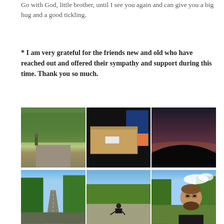Go with God, little brother, until I see you again and can give you a big hug and a good tickling.
* I am very grateful for the friends new and old who have reached out and offered their sympathy and support during this time. Thank you so much.
[Figure (photo): Three photos in a row: left shows a soldier walking on a road with trees; center shows a coffin/wooden box inside a dark vehicle with blue seating; right shows a dark dusk landscape with a hill silhouette.]
[Figure (photo): Three photos in a row: left shows a road through a boreal forest; center shows a person sitting on a road/pavement; right shows a bearded man outdoors with trees and sky behind him.]